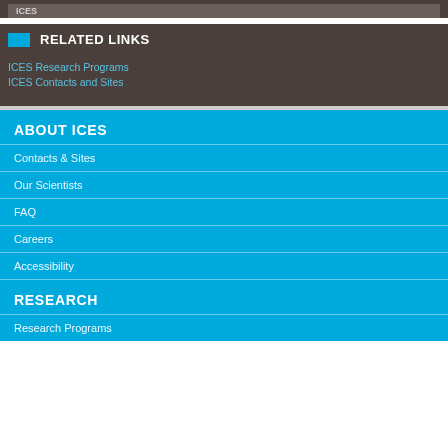RELATED LINKS
ICES Research Programs
ICES Contacts and Sites
ABOUT ICES
Contacts & Sites
Our Scientists
FAQ
Careers
Accessibility
RESEARCH
Research Programs